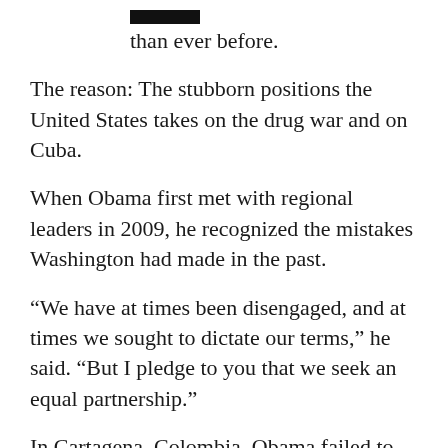than ever before.
The reason: The stubborn positions the United States takes on the drug war and on Cuba.
When Obama first met with regional leaders in 2009, he recognized the mistakes Washington had made in the past.
“We have at times been disengaged, and at times we sought to dictate our terms,” he said. “But I pledge to you that we seek an equal partnership.”
In Cartagena, Colombia, Obama failed to live up to this promise.
A genuine partnership of equals would mean